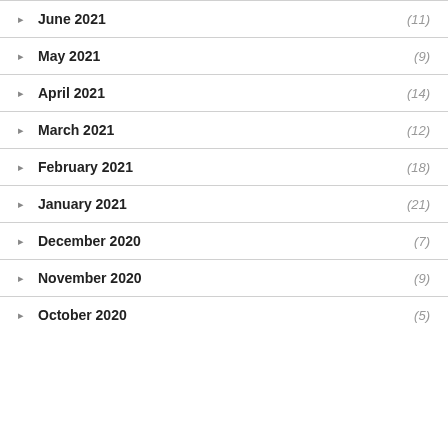June 2021 (11)
May 2021 (9)
April 2021 (14)
March 2021 (12)
February 2021 (18)
January 2021 (21)
December 2020 (7)
November 2020 (9)
October 2020 (5)